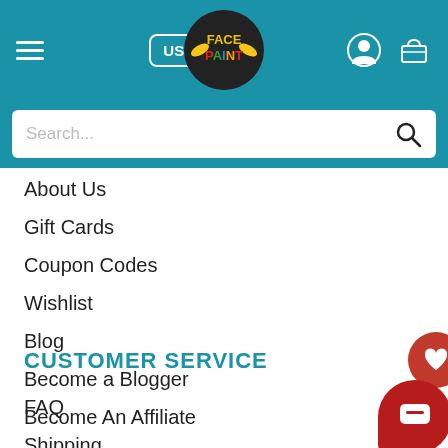[Figure (screenshot): Website header with teal background, hamburger menu, USD$ currency button, FacePaint logo, user icon, and basket icon]
[Figure (screenshot): Search bar with placeholder text 'Search...' and magnifying glass icon]
About Us
Gift Cards
Coupon Codes
Wishlist
Blog
Become a Blogger
Become An Affiliate
CUSTOMER SERVICE
FAQ
Shipping
Contact Us
Login
Register
Sitemap
Terms of Service